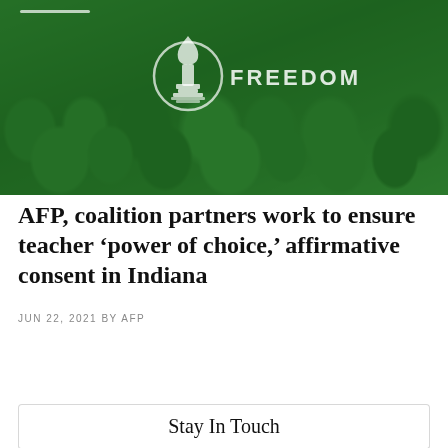[Figure (photo): Green-tinted photo of a crowd at an AFP (Americans for Prosperity) event, with a torch logo and the word FREEDOM visible on t-shirts. AFP logo (torch in circle) centered in the image.]
AFP, coalition partners work to ensure teacher ‘power of choice,’ affirmative consent in Indiana
JUN 22, 2021 BY AFP
search
Stay In Touch